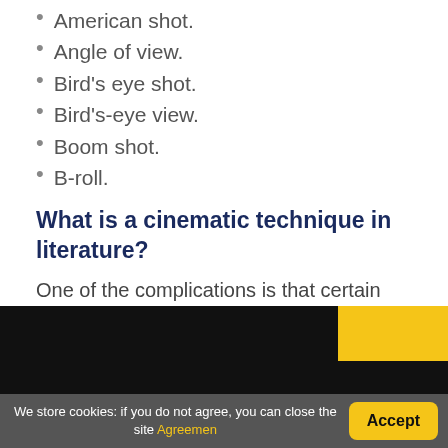American shot.
Angle of view.
Bird's eye shot.
Bird's-eye view.
Boom shot.
B-roll.
What is a cinematic technique in literature?
One of the complications is that certain literary techniques that may strike us as cinematic—like cutting between two visual images or moving between two locations —actually precede the development of cameras or editing. Films noirs will use one style, grand epics another.
[Figure (photo): Dark background image with a yellow block in the upper right corner, partially visible at the bottom of the page.]
We store cookies: if you do not agree, you can close the site Agreemen